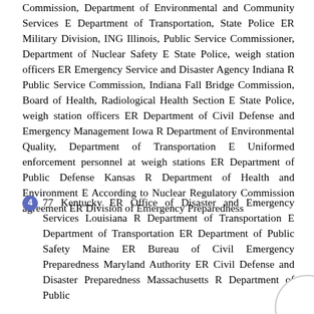Commission, Department of Environmental and Community Services E Department of Transportation, State Police ER Military Division, ING Illinois, Public Service Commissioner, Department of Nuclear Safety E State Police, weigh station officers ER Emergency Service and Disaster Agency Indiana R Public Service Commission, Indiana Fall Bridge Commission, Board of Health, Radiological Health Section E State Police, weigh station officers ER Department of Civil Defense and Emergency Management Iowa R Department of Environmental Quality, Department of Transportation E Uniformed enforcement personnel at weigh stations ER Department of Public Defense Kansas R Department of Health and Environment E According to Nuclear Regulatory Commission agreement ER Division of Emergency Preparedness
4  77 Kentucky ER Office of Disaster and Emergency Services Louisiana R Department of Transportation E Department of Transportation ER Department of Public Safety Maine ER Bureau of Civil Emergency Preparedness Maryland Authority ER Civil Defense and Disaster Preparedness Massachusetts R Department of Public